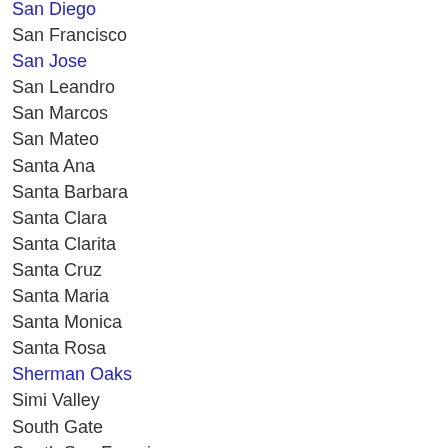San Diego
San Francisco
San Jose
San Leandro
San Marcos
San Mateo
Santa Ana
Santa Barbara
Santa Clara
Santa Clarita
Santa Cruz
Santa Maria
Santa Monica
Santa Rosa
Sherman Oaks
Simi Valley
South Gate
South San Francisco
Stockton
Sunnyvale
Temecula